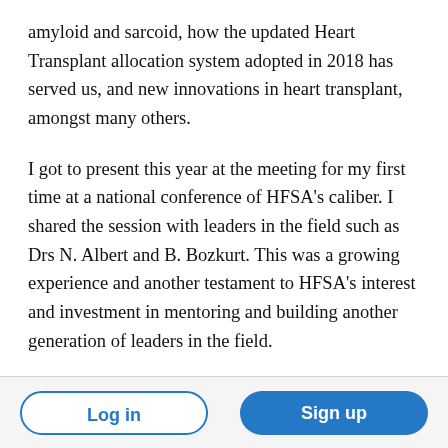amyloid and sarcoid, how the updated Heart Transplant allocation system adopted in 2018 has served us, and new innovations in heart transplant, amongst many others.
I got to present this year at the meeting for my first time at a national conference of HFSA's caliber. I shared the session with leaders in the field such as Drs N. Albert and B. Bozkurt. This was a growing experience and another testament to HFSA's interest and investment in mentoring and building another generation of leaders in the field.
Log in | Sign up